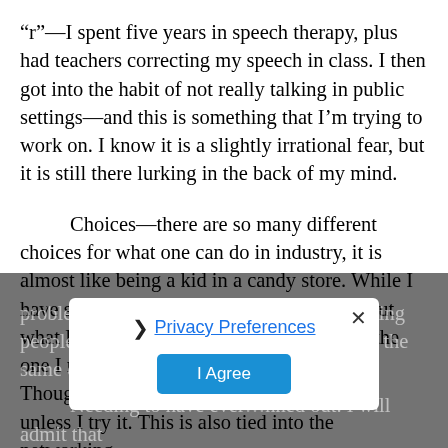“r”—I spent five years in speech therapy, plus had teachers correcting my speech in class. I then got into the habit of not really talking in public settings—and this is something that I’m trying to work on. I know it is a slightly irrational fear, but it is still there lurking in the back of my mind.
Choices—there are so many different choices for what one can do in industry, it is almost like being a kid in a candy store. While I have several different options listed out about what I’m curious about—I have a fear that the one I may chose could be the wrong path. Though as I’m told—I won’t know if I like, unless I try it. This is also tied into the networking
problem—I don’t want to feel like I’m wasting people’s time if I decide that their path isn’t the same one that I actually decide to go down.
Needing to have ever… nned out. I will admit that
[Figure (screenshot): Privacy preferences modal overlay with close button (x), right arrow, Privacy Preferences link, and I Agree button in blue]